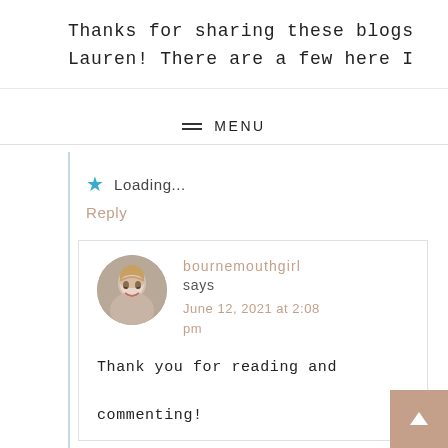Thanks for sharing these blogs Lauren! There are a few here I
MENU
Loading...
Reply
bournemouthgirl says
June 12, 2021 at 2:08 pm
Thank you for reading and commenting!